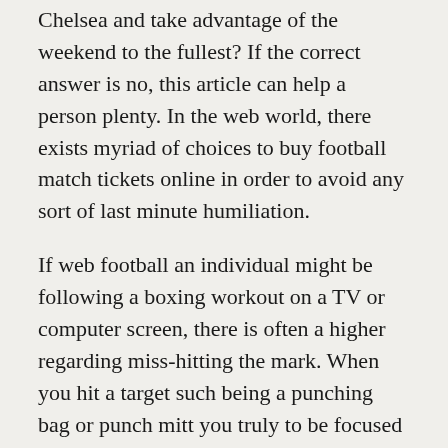Chelsea and take advantage of the weekend to the fullest? If the correct answer is no, this article can help a person plenty. In the web world, there exists myriad of choices to buy football match tickets online in order to avoid any sort of last minute humiliation.
If web football an individual might be following a boxing workout on a TV or computer screen, there is often a higher regarding miss-hitting the mark. When you hit a target such being a punching bag or punch mitt you truly to be focused on that target, not a screen. One reason will be the safety factor. The angle of your fist opposed to the target 's very important. Anyone who has miss-hit a hook or uppercut knows what I'm talking relevant to. Ouch.
The sweetness of Fitness-Boxing the rest is enjoyable. Here to and from to from to to it with